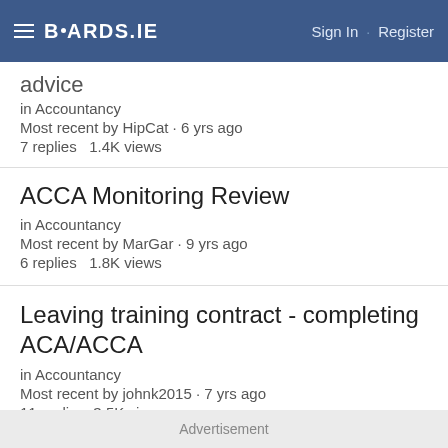BOARDS.IE  Sign In · Register
advice
in Accountancy
Most recent by HipCat · 6 yrs ago
7 replies    1.4K views
ACCA Monitoring Review
in Accountancy
Most recent by MarGar · 9 yrs ago
6 replies    1.8K views
Leaving training contract - completing ACA/ACCA
in Accountancy
Most recent by johnk2015 · 7 yrs ago
11 replies    3.5K views
Advertisement